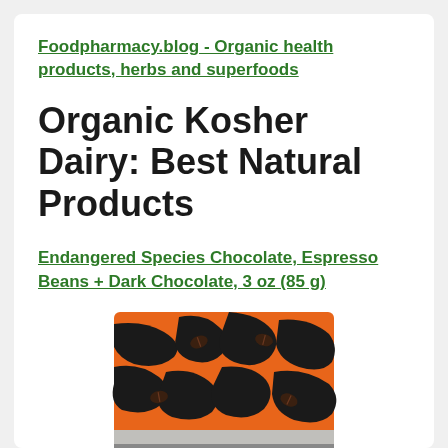Foodpharmacy.blog - Organic health products, herbs and superfoods
Organic Kosher Dairy: Best Natural Products
Endangered Species Chocolate, Espresso Beans + Dark Chocolate, 3 oz (85 g)
[Figure (photo): Photo of Endangered Species Chocolate product packaging with orange and black tiger stripe pattern, showing espresso beans]